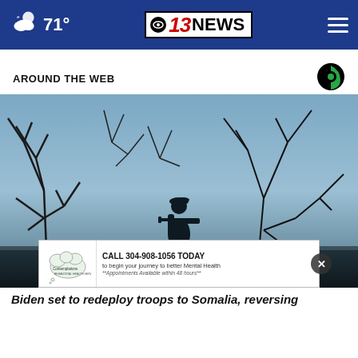71° — CBS 13 NEWS
AROUND THE WEB
[Figure (photo): Silhouette of a soldier standing with a rifle among bare tree branches against a blue-grey sky, likely in Somalia]
[Figure (infographic): Advertisement banner: Contemplations logo. CALL 304-908-1056 TODAY to begin your journey to better Mental Health. **Appointments Available within 48 hours**]
Biden set to redeploy troops to Somalia, reversing